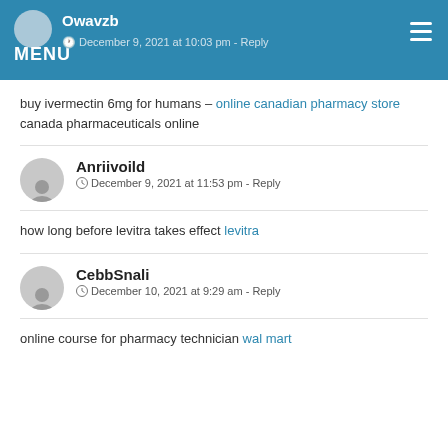MENU  Owavzb  December 9, 2021 at 10:03 pm - Reply
buy ivermectin 6mg for humans – online canadian pharmacy store canada pharmaceuticals online
Anriivoild  December 9, 2021 at 11:53 pm - Reply
how long before levitra takes effect levitra
CebbSnali  December 10, 2021 at 9:29 am - Reply
online course for pharmacy technician wal mart